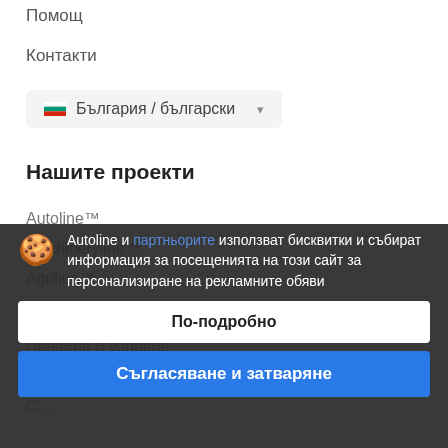Помощ
Контакти
България / български
Нашите проекти
Autoline™
Machineryline™
Agriline™
Информация
Правила и условие
Autoline и партньорите използват бисквитки и събират информация за посещенията на този сайт за персонализиране на рекламните обяви
По-подробно
Съгласяване и затваряне